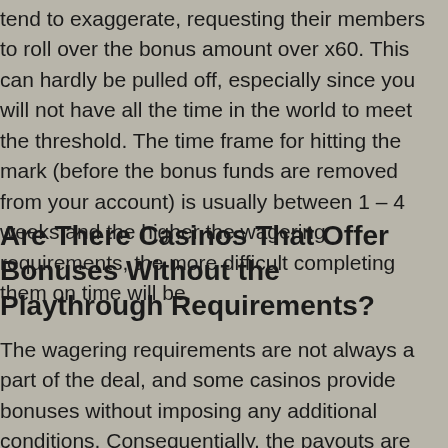tend to exaggerate, requesting their members to roll over the bonus amount over x60. This can hardly be pulled off, especially since you will not have all the time in the world to meet the threshold. The time frame for hitting the mark (before the bonus funds are removed from your account) is usually between 1 – 4 weeks and the higher the wagering requirements, the more difficult completing them on time will be.
Are There Casinos That Offer Bonuses Without the Playthrough Requirements?
The wagering requirements are not always a part of the deal, and some casinos provide bonuses without imposing any additional conditions. Consequentially, the payouts are lower and the wager-free policy is usually applied to the bonuses awarded on the first deposit.